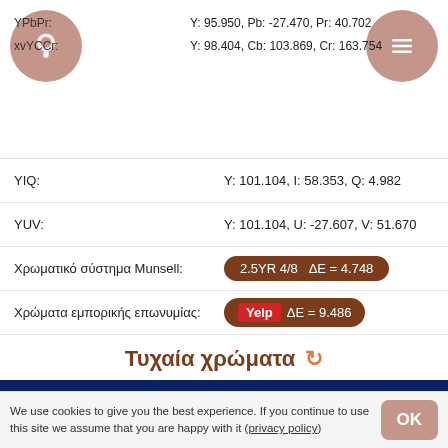YPbPr: Y: 95.950, Pb: -27.470, Pr: 40.702
xvYCCr: Y: 98.404, Cb: 103.869, Cr: 163.754
YIQ: Y: 101.104, I: 58.353, Q: 4.982
YUV: Y: 101.104, U: -27.607, V: 51.670
Χρωματικό σύστημα Munsell: 2.5YR 4/8  ΔΕ = 4.748
Χρώματα εμπορικής επωνυμίας: Yelp ΔΕ = 9.486
Τυχαία χρώματα
#0a235e
#5c1696
We use cookies to give you the best experience. If you continue to use this site we assume that you are happy with it (privacy policy)